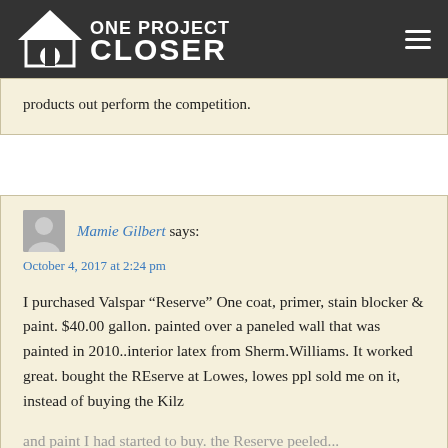ONE PROJECT CLOSER
products out perform the competition.
Mamie Gilbert says:
October 4, 2017 at 2:24 pm
I purchased Valspar “Reserve” One coat, primer, stain blocker & paint. $40.00 gallon. painted over a paneled wall that was painted in 2010..interior latex from Sherm.Williams. It worked great. bought the REserve at Lowes, lowes ppl sold me on it, instead of buying the Kilz and paint I had started to buy. the Reserve peeled... covered good, but peeled after 2 weeks on wall. Lowes